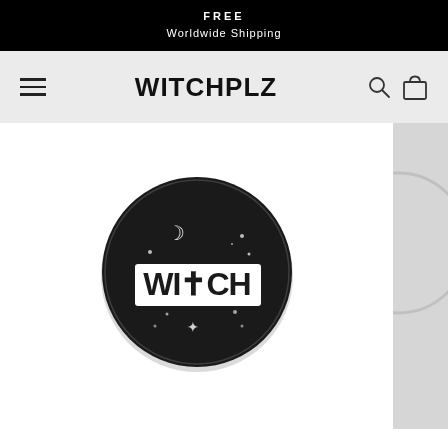FREE
Worldwide Shipping
WITCHPLZ
[Figure (photo): Round black enamel pin with 'WITCH' text and crescent moon and star decorations on a white background]